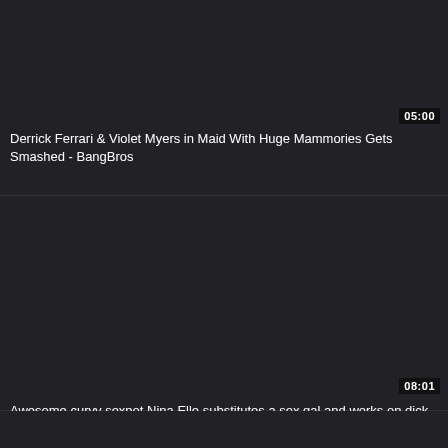[Figure (screenshot): Dark video thumbnail placeholder for first video]
05:00
Derrick Ferrari & Violet Myers in Maid With Huge Mammories Gets Smashed - BangBros
[Figure (screenshot): Dark video thumbnail placeholder for second video]
08:01
Awesome curvy sexpot Nina Elle substitutes a sex gal and works on dick